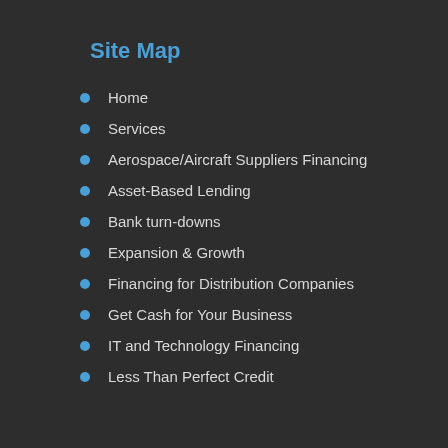Site Map
Home
Services
Aerospace/Aircraft Suppliers Financing
Asset-Based Lending
Bank turn-downs
Expansion & Growth
Financing for Distribution Companies
Get Cash for Your Business
IT and Technology Financing
Less Than Perfect Credit